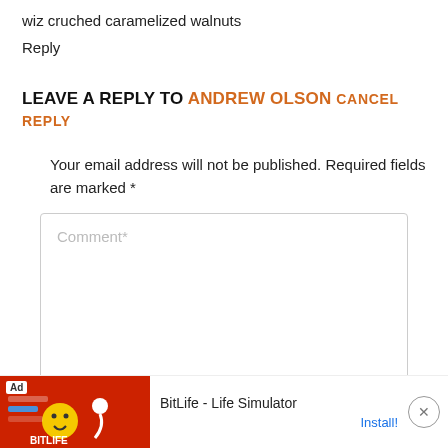wiz cruched caramelized walnuts
Reply
LEAVE A REPLY TO ANDREW OLSON CANCEL REPLY
Your email address will not be published. Required fields are marked *
[Figure (screenshot): Comment text area input box with placeholder text 'Comment*' and a resize handle in the bottom right corner]
[Figure (infographic): Advertisement bar at bottom: BitLife - Life Simulator app ad with red background image on the left, app title in the center, and Install! link and close button on the right]